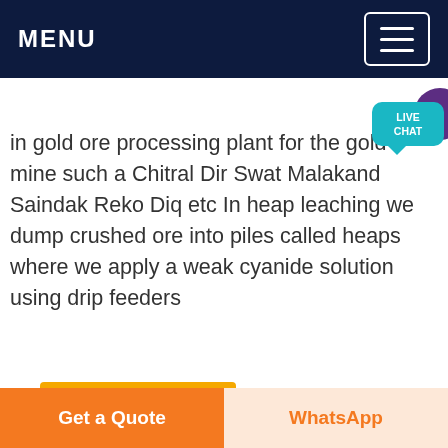MENU
in gold ore processing plant for the gold mine such as Chitral Dir Swat Malakand Saindak Reko Diq etc In heap leaching we dump crushed ore into piles called heaps where we apply a weak cyanide solution using drip feeders
to
Get price
[Figure (photo): Interior of an industrial processing plant / factory showing a large warehouse with a metal roof structure, hanging lights, steel columns, and industrial equipment]
Get a Quote
WhatsApp